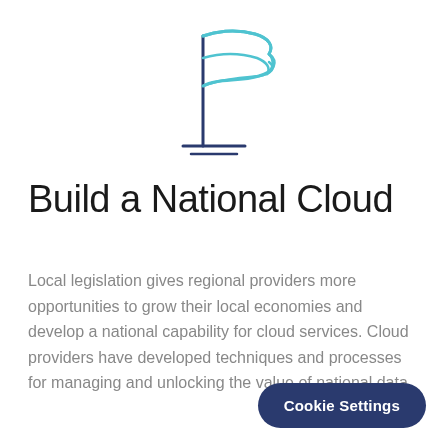[Figure (illustration): A line-art icon of a flag on a pole. The flag is drawn in cyan/teal color with wavy lines suggesting fabric. The pole is dark navy blue with a horizontal base line.]
Build a National Cloud
Local legislation gives regional providers more opportunities to grow their local economies and develop a national capability for cloud services. Cloud providers have developed techniques and processes for managing and unlocking the value of national data.
Cookie Settings